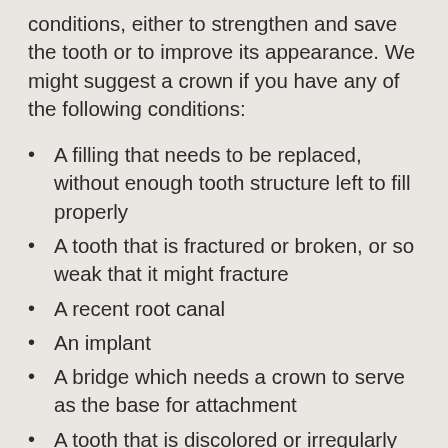conditions, either to strengthen and save the tooth or to improve its appearance. We might suggest a crown if you have any of the following conditions:
A filling that needs to be replaced, without enough tooth structure left to fill properly
A tooth that is fractured or broken, or so weak that it might fracture
A recent root canal
An implant
A bridge which needs a crown to serve as the base for attachment
A tooth that is discolored or irregularly shaped
On your first visit to our Issaquah, WA office, Dr.